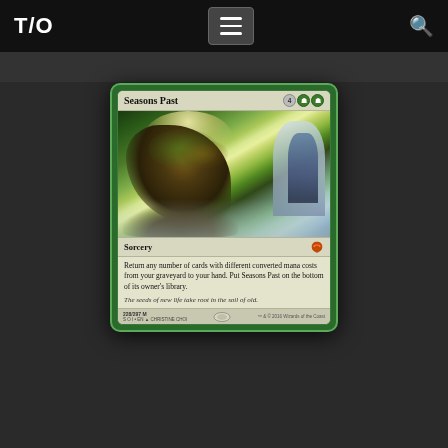T/O  ≡  🔍
[Figure (illustration): Magic: The Gathering card 'Seasons Past' from Shadows over Innistrad. Green sorcery card showing a large ancient tree with glowing light in a ruined stone building. Card text: Return any number of cards with different converted mana costs from your graveyard to your hand. Put Seasons Past on the bottom of its owner's library. Flavor text: The seeds of new life take root in the soil of old. Collector number 228/297 M, SOI EN, art by Christine Choi, TM & © 2016 Wizards of the Coast.]